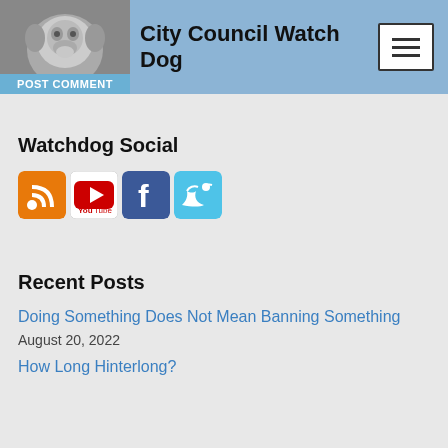City Council Watch Dog
Watchdog Social
[Figure (other): Social media icons: RSS feed (orange), YouTube (red/white), Facebook (blue), Twitter (light blue)]
Recent Posts
Doing Something Does Not Mean Banning Something
August 20, 2022
How Long Hinterlong?